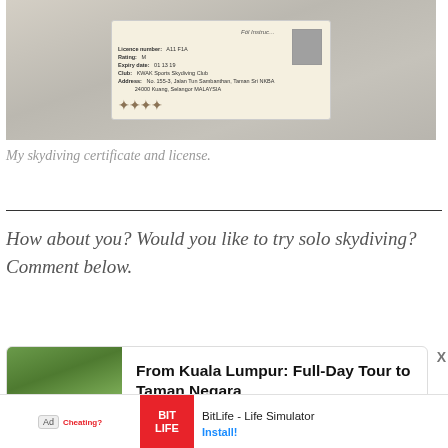[Figure (photo): Photo of a skydiving certificate/license ID card on a gray surface. The card shows personal details, a small photo, ornamental design, and text related to a skydiving club.]
My skydiving certificate and license.
How about you? Would you like to try solo skydiving? Comment below.
[Figure (screenshot): Advertisement banner: 'From Kuala Lumpur: Full-Day Tour to Taman Negara' with a forest/nature photo on the left and bold text on the right. An X close button is visible.]
[Figure (screenshot): Mobile app advertisement bar at the bottom: 'Ad' badge, BitLife app icon in red, 'BitLife - Life Simulator' title, and 'Install!' button in blue.]